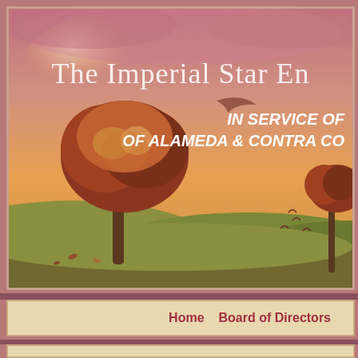[Figure (illustration): Autumn sunset landscape with stylized trees with red-orange leaves on rolling hills under a warm orange and pink sky. The banner header image for 'The Imperial Star Enterprise' website, serving Alameda and Contra Costa counties.]
The Imperial Star En(terprise)
IN SERVICE OF (THE COMMUNITIES) OF ALAMEDA & CONTRA CO(STA)
Home   Board of Directors